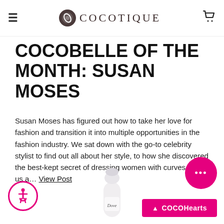COCOTIQUE
COCOBELLE OF THE MONTH: SUSAN MOSES
Susan Moses has figured out how to take her love for fashion and transition it into multiple opportunities in the fashion industry. We sat down with the go-to celebrity stylist to find out all about her style, to how she discovered the best-kept secret of dressing women with curves. Tell us a… View Post
[Figure (photo): Dove roll-on deodorant product bottle partially visible at the bottom of the page]
[Figure (infographic): Pink accessibility icon button (wheelchair symbol) in bottom left corner]
[Figure (infographic): Pink circular chat button with three dots in bottom right area]
[Figure (infographic): Pink COCOHearts button with upward arrow chevron in bottom right corner]